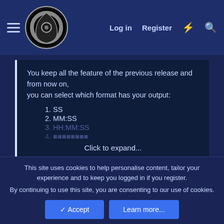Log in  Register
You keep all the feature of the previous release and from now on,
you can select which format has your output:
1. SS
2. MM:SS
3. HH:MM:SS
4. [partially visible]
Click to expand...
Read the rest of this update entry
This site uses cookies to help personalise content, tailor your experience and to keep you logged in if you register.
By continuing to use this site, you are consenting to our use of cookies.